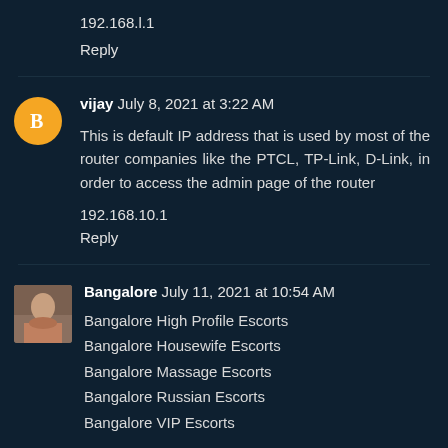192.168.l.1
Reply
vijay July 8, 2021 at 3:22 AM
This is default IP address that is used by most of the router companies like the PTCL, TP-Link, D-Link, in order to access the admin page of the router
192.168.10.1
Reply
Bangalore July 11, 2021 at 10:54 AM
Bangalore High Profile Escorts
Bangalore Housewife Escorts
Bangalore Massage Escorts
Bangalore Russian Escorts
Bangalore VIP Escorts